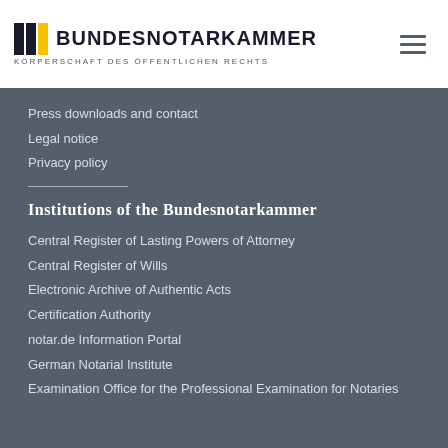[Figure (logo): Bundesnotarkammer logo with diagonal stripes and text 'BUNDESNOTARKAMMER KÖRPERSCHAFT DES ÖFFENTLICHEN RECHTS']
Press downloads and contact
Legal notice
Privacy policy
Institutions of the Bundesnotarkammer
Central Register of Lasting Powers of Attorney
Central Register of Wills
Electronic Archive of Authentic Acts
Certification Authority
notar.de Information Portal
German Notarial Institute
Examination Office for the Professional Examination for Notaries